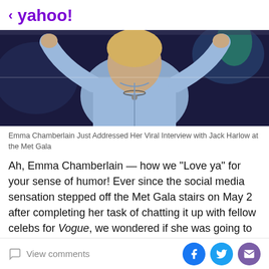< yahoo!
[Figure (photo): Person with arms raised, wearing a light blue shirt, appearing to be on a TV talk show set with dark background]
Emma Chamberlain Just Addressed Her Viral Interview with Jack Harlow at the Met Gala
Ah, Emma Chamberlain — how we "Love ya" for your sense of humor! Ever since the social media sensation stepped off the Met Gala stairs on May 2 after completing her task of chatting it up with fellow celebs for Vogue, we wondered if she was going to address that cringy (yet, so iconic) moment with Jack Harlow.
For a quick refresh, at the tail end of her red carpet
View comments